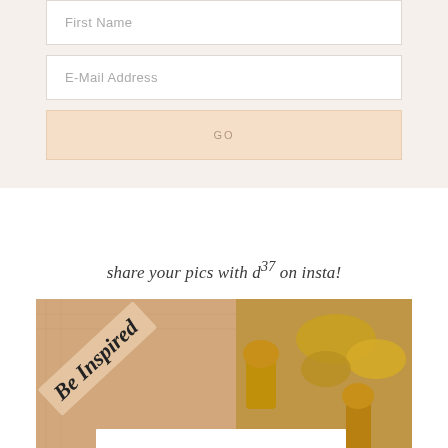First Name
E-Mail Address
GO
share your pics with d37 on insta!
[Figure (photo): A decorative photo showing gold animal figurines and golden leaf decorations on a patterned background, with a white label showing '#MyCollectedDecor' and a diagonal ribbon reading 'Be Inspired']